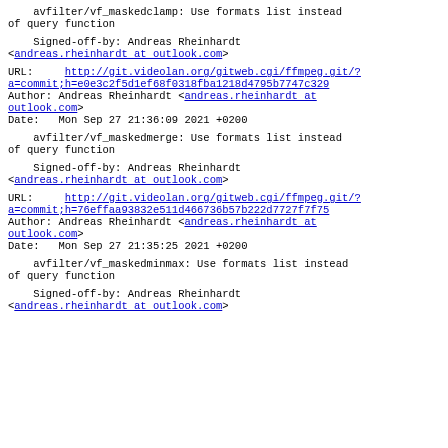avfilter/vf_maskedclamp: Use formats list instead of query function
Signed-off-by: Andreas Rheinhardt <andreas.rheinhardt at outlook.com>
URL: http://git.videolan.org/gitweb.cgi/ffmpeg.git/?a=commit;h=e0e3c2f5d1ef68f0318fba1218d4795b7747c329
Author: Andreas Rheinhardt <andreas.rheinhardt at outlook.com>
Date:   Mon Sep 27 21:36:09 2021 +0200
avfilter/vf_maskedmerge: Use formats list instead of query function
Signed-off-by: Andreas Rheinhardt <andreas.rheinhardt at outlook.com>
URL: http://git.videolan.org/gitweb.cgi/ffmpeg.git/?a=commit;h=76effaa93832e511d466736b57b222d7727f7f75
Author: Andreas Rheinhardt <andreas.rheinhardt at outlook.com>
Date:   Mon Sep 27 21:35:25 2021 +0200
avfilter/vf_maskedminmax: Use formats list instead of query function
Signed-off-by: Andreas Rheinhardt <andreas.rheinhardt at outlook.com>